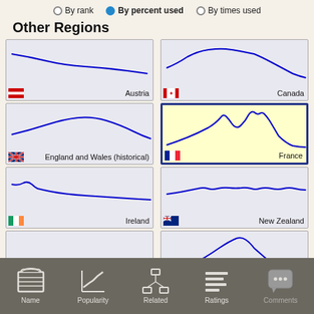By rank  By percent used  By times used
Other Regions
[Figure (continuous-plot): Line chart showing name popularity trend for Austria - declining curve]
[Figure (continuous-plot): Line chart showing name popularity trend for Canada - rises then falls]
[Figure (continuous-plot): Line chart showing name popularity trend for England and Wales (historical) - rises then falls]
[Figure (continuous-plot): Line chart showing name popularity trend for France - two distinct peaks, highlighted with yellow background and blue border]
[Figure (continuous-plot): Line chart showing name popularity trend for Ireland - declining with small bumps]
[Figure (continuous-plot): Line chart showing name popularity trend for New Zealand - relatively flat with small bumps]
[Figure (continuous-plot): Line chart showing name popularity trend for Scotland - small bump at bottom left]
[Figure (continuous-plot): Line chart showing name popularity trend for United States - bell curve shape peaking in middle]
Name  Popularity  Related  Ratings  Comments